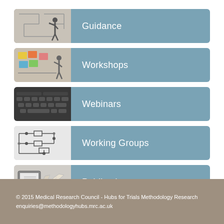[Figure (illustration): Navigation button with person writing on whiteboard image and 'Guidance' label on blue-grey background]
[Figure (illustration): Navigation button with person at planning board image and 'Workshops' label on blue-grey background]
[Figure (illustration): Navigation button with keyboard image and 'Webinars' label on blue-grey background]
[Figure (illustration): Navigation button with circuit/schematic diagram image and 'Working Groups' label on blue-grey background]
[Figure (illustration): Navigation button with books/kindle image and 'Publications' label on blue-grey background]
© 2015 Medical Research Council - Hubs for Trials Methodology Research
enquiries@methodologyhubs.mrc.ac.uk